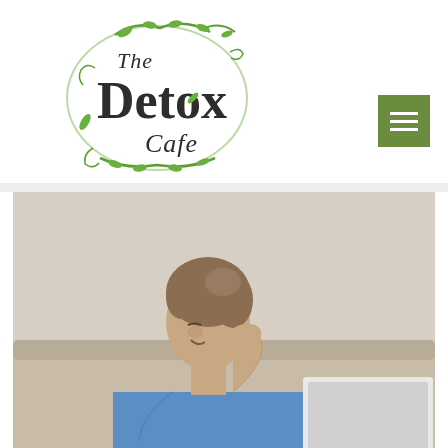[Figure (logo): The Detox Cafe logo: stylized handwritten text with green vine/leaf decorative circle border]
[Figure (other): Green square hamburger menu button with three white horizontal lines]
[Figure (photo): Woman in blue sleeveless top sitting at desk with laptop, reaching hand to her neck/shoulder area in apparent pain or discomfort, light neutral background]